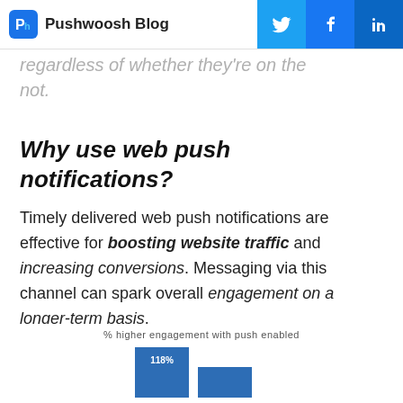Pushwoosh Blog
regardless of whether they're on the not.
Why use web push notifications?
Timely delivered web push notifications are effective for boosting website traffic and increasing conversions. Messaging via this channel can spark overall engagement on a longer-term basis.
[Figure (bar-chart): % higher engagement with push enabled]